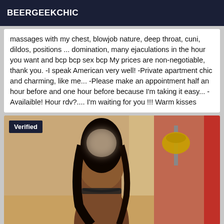BEERGEEKCHIC
massages with my chest, blowjob nature, deep throat, cuni, dildos, positions ... domination, many ejaculations in the hour you want and bcp bcp sex bcp My prices are non-negotiable, thank you. -I speak American very well! -Private apartment chic and charming, like me... -Please make an appointment half an hour before and one hour before because I'm taking it easy... -Availaible! Hour rdv?.... I'm waiting for you !!! Warm kisses
[Figure (photo): Photo of a person with a 'Verified' badge overlay in the top-left corner. The image shows a dark-haired individual photographed from behind in an indoor setting with warm lighting and a lamp visible in the background. A red element is visible on the right edge.]